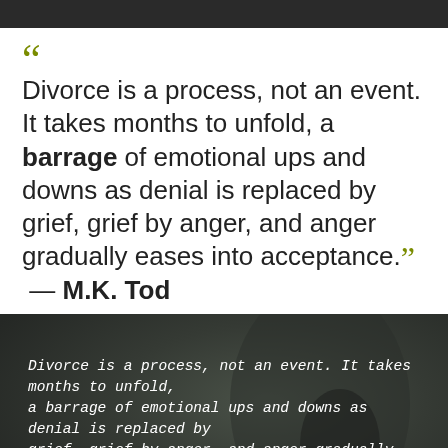“Divorce is a process, not an event. It takes months to unfold, a barrage of emotional ups and downs as denial is replaced by grief, grief by anger, and anger gradually eases into acceptance.” — M.K. Tod
[Figure (photo): Dark background image (dark teal/grey tone) with white italic quote text overlay: 'Divorce is a process, not an event. It takes months to unfold, a barrage of emotional ups and downs as denial is replaced by grief, grief by anger, and anger gradually eases into acceptance.' Attribution: M.K. Tod. Yellow-green watermark label at bottom center reading 'BEATDATING.NET'.]